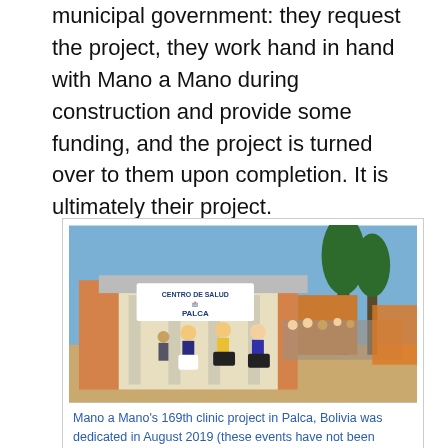municipal government: they request the project, they work hand in hand with Mano a Mano during construction and provide some funding, and the project is turned over to them upon completion. It is ultimately their project.
[Figure (photo): Photograph of people in traditional Bolivian clothing dancing in front of a building labeled 'Centro de Salud Palca' (health clinic) with trees visible in the background. A crowd of onlookers is present.]
Mano a Mano's 169th clinic project in Palca, Bolivia was dedicated in August 2019 (these events have not been